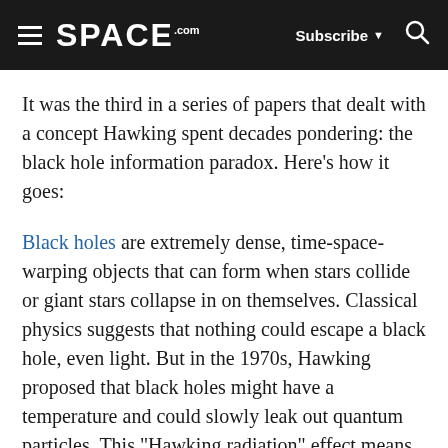SPACE.com | Subscribe | Search
It was the third in a series of papers that dealt with a concept Hawking spent decades pondering: the black hole information paradox. Here's how it goes:
Black holes are extremely dense, time-space-warping objects that can form when stars collide or giant stars collapse in on themselves. Classical physics suggests that nothing could escape a black hole, even light. But in the 1970s, Hawking proposed that black holes might have a temperature and could slowly leak out quantum particles. This "Hawking radiation" effect means that, eventually, the black hole will evaporate, leaving behind a vacuum that will look the same for each evaporated black hole, no matter what it ate